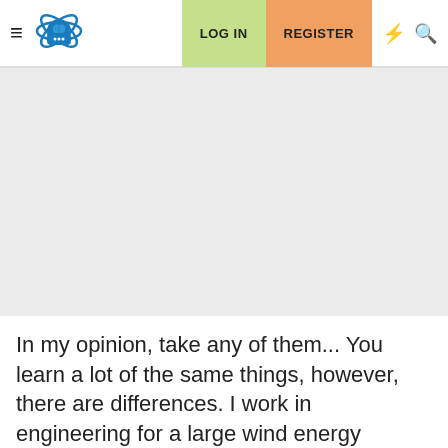LOG IN  REGISTER
[Figure (screenshot): Gray advertisement/content placeholder area]
In my opinion, take any of them... You learn a lot of the same things, however, there are differences. I work in engineering for a large wind energy company, and I don't even have a